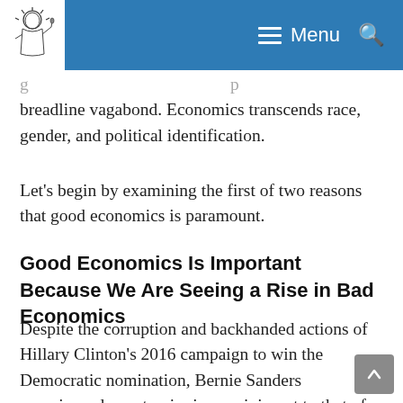Menu
breadline vagabond. Economics transcends race, gender, and political identification.
Let's begin by examining the first of two reasons that good economics is paramount.
Good Economics Is Important Because We Are Seeing a Rise in Bad Economics
Despite the corruption and backhanded actions of Hillary Clinton's 2016 campaign to win the Democratic nomination, Bernie Sanders experienced a meteoric rise reminiscent to that of Ron Paul's, whose 2008 presidential campaign trained his supporters' focus on economics. Paul